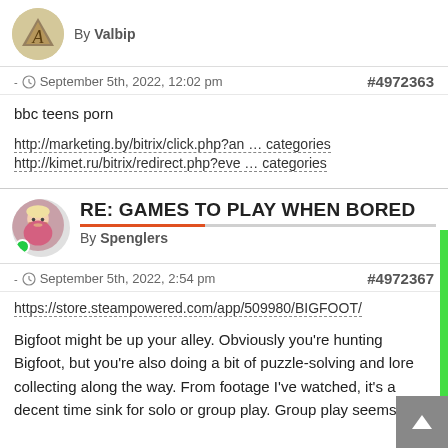By Valbip
- September 5th, 2022, 12:02 pm   #4972363
bbc teens porn
http://marketing.by/bitrix/click.php?an … categories
http://kimet.ru/bitrix/redirect.php?eve … categories
RE: GAMES TO PLAY WHEN BORED
By Spenglers
- September 5th, 2022, 2:54 pm   #4972367
https://store.steampowered.com/app/509980/BIGFOOT/
Bigfoot might be up your alley. Obviously you're hunting Bigfoot, but you're also doing a bit of puzzle-solving and lore collecting along the way. From footage I've watched, it's a decent time sink for solo or group play. Group play seems to